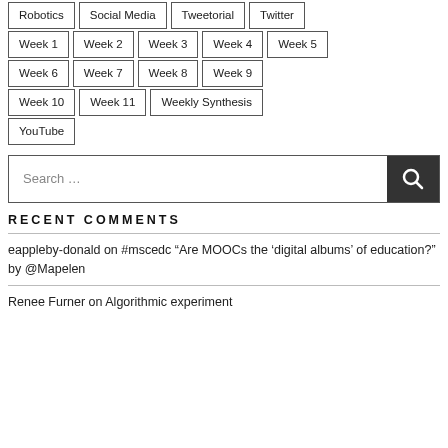Robotics
Social Media
Tweetorial
Twitter
Week 1
Week 2
Week 3
Week 4
Week 5
Week 6
Week 7
Week 8
Week 9
Week 10
Week 11
Weekly Synthesis
YouTube
RECENT COMMENTS
eappleby-donald on #mscedc “Are MOOCs the ‘digital albums’ of education?” by @Mapelen
Renee Furner on Algorithmic experiment